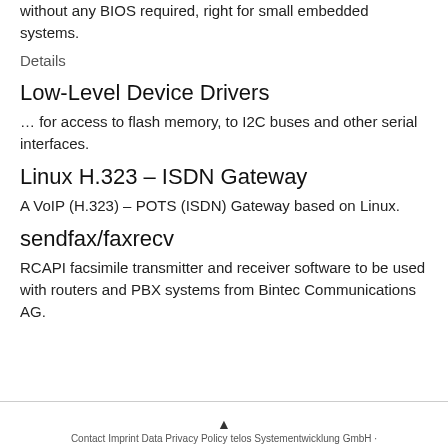without any BIOS required, right for small embedded systems.
Details
Low-Level Device Drivers
… for access to flash memory, to I2C buses and other serial interfaces.
Linux H.323 – ISDN Gateway
A VoIP (H.323) – POTS (ISDN) Gateway based on Linux.
sendfax/faxrecv
RCAPI facsimile transmitter and receiver software to be used with routers and PBX systems from Bintec Communications AG.
Contact Imprint Data Privacy Policy telos Systementwicklung GmbH ·